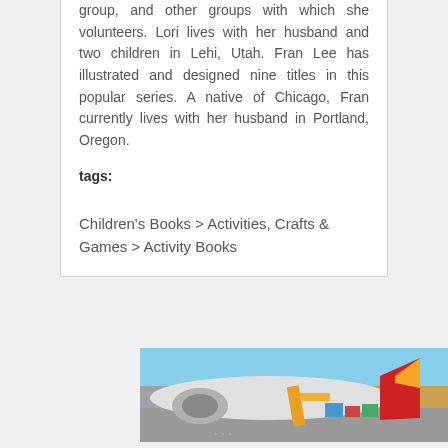group, and other groups with which she volunteers. Lori lives with her husband and two children in Lehi, Utah. Fran Lee has illustrated and designed nine titles in this popular series. A native of Chicago, Fran currently lives with her husband in Portland, Oregon.
tags:
Children's Books > Activities, Crafts & Games > Activity Books
[Figure (photo): Advertisement banner showing an airplane being loaded with cargo at an airport, with a dark overlay text box reading 'WITHOUT REGARD TO' and smaller subtitle text.]